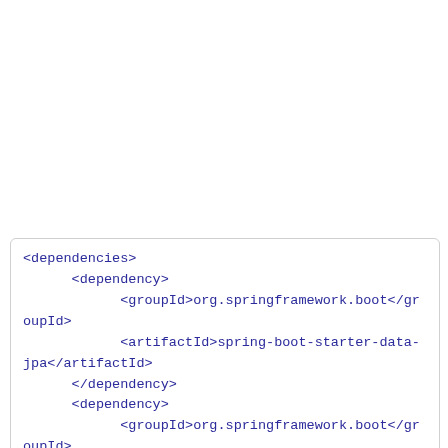<dependencies>
    <dependency>
        <groupId>org.springframework.boot</groupId>
        <artifactId>spring-boot-starter-data-jpa</artifactId>
    </dependency>
    <dependency>
        <groupId>org.springframework.boot</groupId>
        <artifactId>spring-boot-starter-web</artifactId>
    </dependency>